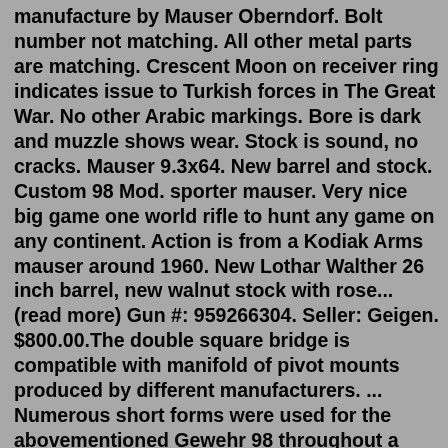manufacture by Mauser Oberndorf. Bolt number not matching. All other metal parts are matching. Crescent Moon on receiver ring indicates issue to Turkish forces in The Great War. No other Arabic markings. Bore is dark and muzzle shows wear. Stock is sound, no cracks. Mauser 9.3x64. New barrel and stock. Custom 98 Mod. sporter mauser. Very nice big game one world rifle to hunt any game on any continent. Action is from a Kodiak Arms mauser around 1960. New Lothar Walther 26 inch barrel, new walnut stock with rose... (read more) Gun #: 959266304. Seller: Geigen. $800.00.The double square bridge is compatible with manifold of pivot mounts produced by different manufacturers. ... Numerous short forms were used for the abovementioned Gewehr 98 throughout a 100-year period - it was best known as G98 or Gew98. The thing that added to the Chinese puzzle was the fact that it often used another abbreviation - the M98.A German bolt action Mauser rifle firing cartridges from a 5 round internal clip-